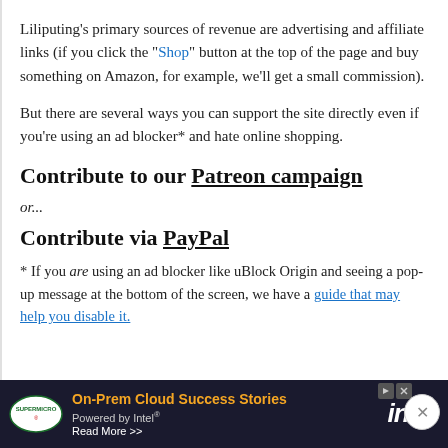Liliputing's primary sources of revenue are advertising and affiliate links (if you click the "Shop" button at the top of the page and buy something on Amazon, for example, we'll get a small commission).
But there are several ways you can support the site directly even if you're using an ad blocker* and hate online shopping.
Contribute to our Patreon campaign
or...
Contribute via PayPal
* If you are using an ad blocker like uBlock Origin and seeing a pop-up message at the bottom of the screen, we have a guide that may help you disable it.
[Figure (infographic): Advertisement banner: Supermicro logo on dark background with text 'On-Prem Cloud Success Stories Powered by Intel® Read More >>' and Intel logo]